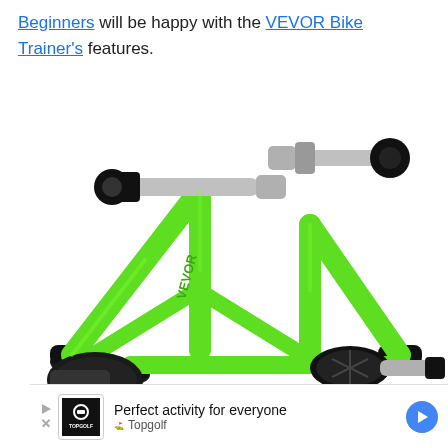Beginners will be happy with the VEVOR Bike Trainer's features.
[Figure (photo): VEVOR Bike Trainer stand shown in green and black, a magnetic bicycle training stand with two vertical support legs, skewer axle clamps, a resistance unit roller at the rear, and a remote controller. Photographed on white background.]
Perfect activity for everyone — Topgolf (advertisement banner)